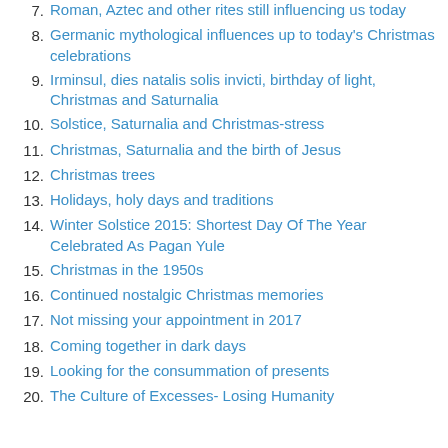7. Roman, Aztec and other rites still influencing us today
8. Germanic mythological influences up to today's Christmas celebrations
9. Irminsul, dies natalis solis invicti, birthday of light, Christmas and Saturnalia
10. Solstice, Saturnalia and Christmas-stress
11. Christmas, Saturnalia and the birth of Jesus
12. Christmas trees
13. Holidays, holy days and traditions
14. Winter Solstice 2015: Shortest Day Of The Year Celebrated As Pagan Yule
15. Christmas in the 1950s
16. Continued nostalgic Christmas memories
17. Not missing your appointment in 2017
18. Coming together in dark days
19. Looking for the consummation of presents
20. The Culture of Excesses- Losing Humanity